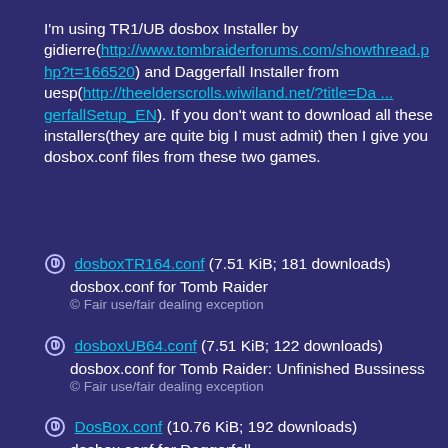I'm using TR1/UB dosbox Installer by gidierre(http://www.tombraiderforums.com/showthread.php?t=166520) and Daggerfall Installer from uesp(http://theelderscrolls.wiwiland.net/?title=Da ... gerfallSetup_EN). If you don't want to download all these installers(they are quite big I must admit) then I give you dosbox.conf files from these two games.
Attachments
dosboxTR164.conf (7.51 KiB; 181 downloads)
dosbox.conf for Tomb Raider
© Fair use/fair dealing exception
dosboxUB64.conf (7.51 KiB; 122 downloads)
dosbox.conf for Tomb Raider: Unfinished Bussiness
© Fair use/fair dealing exception
DosBox.conf (10.76 KiB; 192 downloads)
dosbox.conf for Daggerfall
© Fair use/fair dealing exception